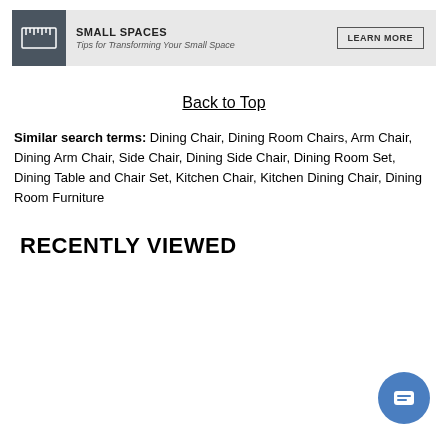[Figure (infographic): Small Spaces banner ad with ruler icon, title 'SMALL SPACES', subtitle 'Tips for Transforming Your Small Space', and a 'LEARN MORE' button]
Back to Top
Similar search terms: Dining Chair, Dining Room Chairs, Arm Chair, Dining Arm Chair, Side Chair, Dining Side Chair, Dining Room Set, Dining Table and Chair Set, Kitchen Chair, Kitchen Dining Chair, Dining Room Furniture
RECENTLY VIEWED
[Figure (illustration): Chat/message button icon (blue circle with message lines icon) in bottom right corner]